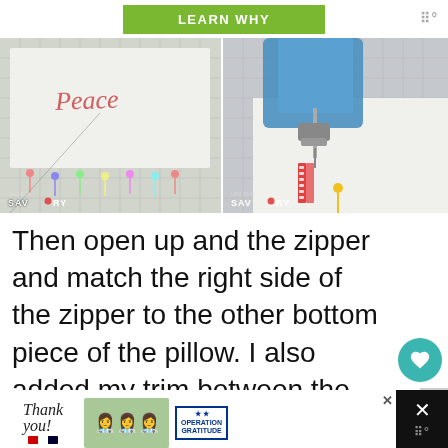[Figure (screenshot): Green LEARN WHY button banner at top of webpage with menu icon on the right]
[Figure (photo): Two side-by-side tutorial photos from Life Sew Savory. Left: fabric with 'Peace' embroidered in cursive, pinned on cutting mat. Right: sewing machine needle and presser foot close-up on white fabric with zipper tape and pin visible. Both have SAV-RY watermark logo at bottom left.]
Then open up and the zipper and match the right side of the zipper to the other bottom piece of the pillow. I also added my trim between the zipper and the pillow in this step.
[Figure (screenshot): WHAT'S NEXT overlay showing thumbnail and text 'DIY Halloween Mask –...' with heart and share icons on right side]
[Figure (screenshot): Bottom advertisement banner: Thank you text with US flag pencils graphic, photo of nurses holding craft items, Operation Gratitude logo, and close X button]